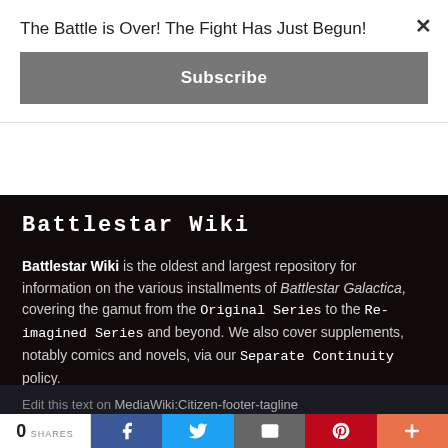The Battle is Over! The Fight Has Just Begun!
Subscribe
Battlestar Wiki
Battlestar Wiki is the oldest and largest repository for information on the various installments of Battlestar Galactica, covering the gamut from the Original Series to the Re-imagined Series and beyond. We also cover supplements, notably comics and novels, via our Separate Continuity policy.
Privacy policy   About Battlestar Wiki   Disclaimers
Edit this text on MediaWiki:Citizen-footer-tagline
0 SHARES